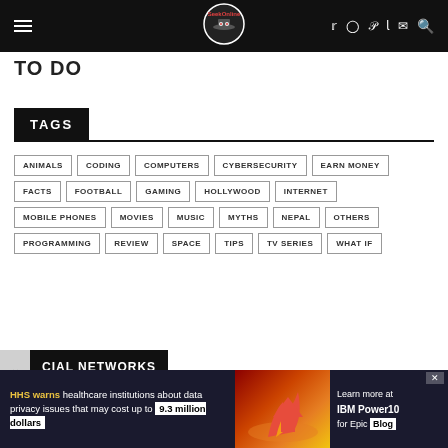SeekOnline navigation bar with logo and social icons
TO DO
TAGS
ANIMALS
CODING
COMPUTERS
CYBERSECURITY
EARN MONEY
FACTS
FOOTBALL
GAMING
HOLLYWOOD
INTERNET
MOBILE PHONES
MOVIES
MUSIC
MYTHS
NEPAL
OTHERS
PROGRAMMING
REVIEW
SPACE
TIPS
TV SERIES
WHAT IF
SOCIAL NETWORKS
HHS warns healthcare institutions about data privacy issues that may cost up to 9.3 million dollars — Learn more at IBM Power10 for Epic Blog